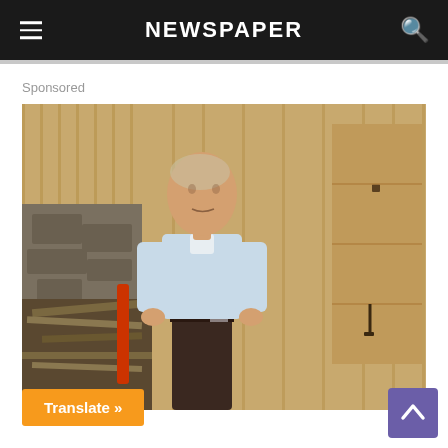NEWSPAPER
Sponsored
[Figure (photo): A man in a light blue long-sleeve shirt and dark trousers standing outdoors in front of a wooden shed or barn structure with lumber and construction materials nearby]
Translate »